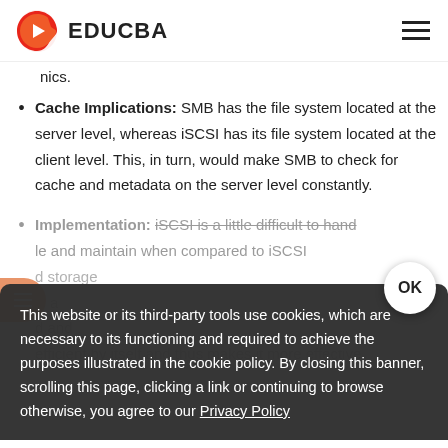EDUCBA
nics.
Cache Implications: SMB has the file system located at the server level, whereas iSCSI has its file system located at the client level. This, in turn, would make SMB to check for cache and metadata on the server level constantly.
Implementation: iSCSI is a little difficult to handle and maintain when compared to iSCSI...
This website or its third-party tools use cookies, which are necessary to its functioning and required to achieve the purposes illustrated in the cookie policy. By closing this banner, scrolling this page, clicking a link or continuing to browse otherwise, you agree to our Privacy Policy